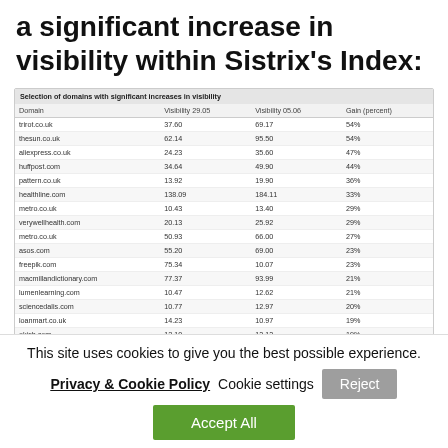a significant increase in visibility within Sistrix's Index:
| Domain | Visibility 29.05 | Visibility 05.06 | Gain (percent) |
| --- | --- | --- | --- |
| trirot.co.uk | 37.60 | 69.17 | 34% |
| thesun.co.uk | 62.14 | 95.50 | 54% |
| aliexpress.co.uk | 24.23 | 35.60 | 47% |
| huffpost.com | 34.64 | 49.90 | 44% |
| pattern.co.uk | 13.92 | 19.90 | 36% |
| healthline.com | 138.09 | 184.11 | 33% |
| metro.co.uk | 10.43 | 13.40 | 29% |
| verywellhealth.com | 20.13 | 25.92 | 29% |
| metro.co.uk | 50.93 | 66.00 | 27% |
| asos.com | 55.20 | 69.00 | 23% |
| freepar.com | 75.34 | 16.07 | 23% |
| macmillandictionary.com | 77.37 | 93.99 | 21% |
| lumenlearning.com | 10.47 | 12.62 | 21% |
| sciencedalis.com | 10.77 | 12.97 | 20% |
| loanmart.co.uk | 14.23 | 10.97 | 19% |
| clickh.com | 12.10 | 13.13 | 19% |
| softfamous.com | 12.09 | 14.37 | 19% |
| ... | 41.40 | 49.11 | 19% |
This site uses cookies to give you the best possible experience.
Privacy & Cookie Policy  Cookie settings  Reject  Accept All